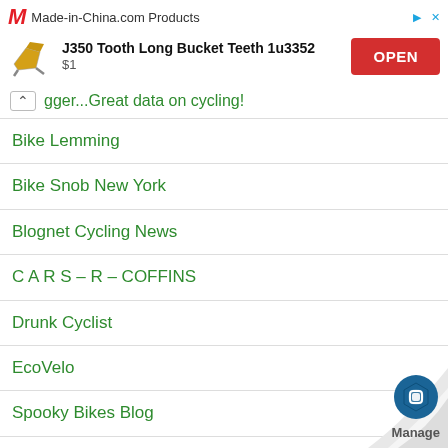[Figure (screenshot): Advertisement banner for Made-in-China.com showing J350 Tooth Long Bucket Teeth 1u3352 product at $1 with OPEN button]
...gger...Great data on cycling!
Bike Lemming
Bike Snob New York
Blognet Cycling News
C A R S – R – COFFINS
Drunk Cyclist
EcoVelo
Spooky Bikes Blog
The 1 Mile Solution
United Bicycle Institute